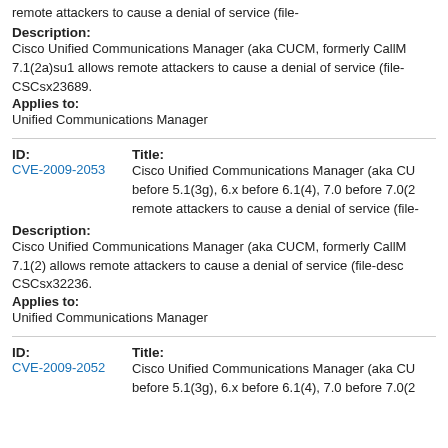remote attackers to cause a denial of service (file-
Description:
Cisco Unified Communications Manager (aka CUCM, formerly CallM 7.1(2a)su1 allows remote attackers to cause a denial of service (file- CSCsx23689.
Applies to:
Unified Communications Manager
ID: CVE-2009-2053   Title: Cisco Unified Communications Manager (aka CU before 5.1(3g), 6.x before 6.1(4), 7.0 before 7.0(2 remote attackers to cause a denial of service (file-
Description:
Cisco Unified Communications Manager (aka CUCM, formerly CallM 7.1(2) allows remote attackers to cause a denial of service (file-desc CSCsx32236.
Applies to:
Unified Communications Manager
ID: CVE-2009-2052   Title: Cisco Unified Communications Manager (aka CU before 5.1(3g), 6.x before 6.1(4), 7.0 before 7.0(2